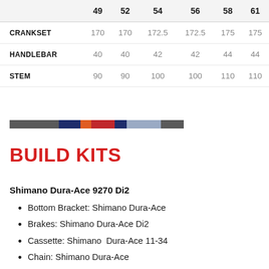|  | 49 | 52 | 54 | 56 | 58 | 61 |
| --- | --- | --- | --- | --- | --- | --- |
| CRANKSET | 170 | 170 | 172.5 | 172.5 | 175 | 175 |
| HANDLEBAR | 40 | 40 | 42 | 42 | 44 | 44 |
| STEM | 90 | 90 | 100 | 100 | 110 | 110 |
[Figure (infographic): Horizontal color bar with segments: dark gray, dark navy, orange, red, dark navy, light blue/lavender, dark gray]
BUILD KITS
Shimano Dura-Ace 9270 Di2
Bottom Bracket: Shimano Dura-Ace
Brakes: Shimano Dura-Ace Di2
Cassette: Shimano  Dura-Ace 11-34
Chain: Shimano Dura-Ace